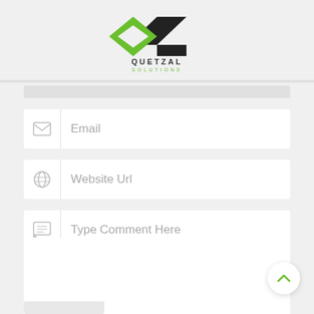[Figure (logo): Quetzal Solutions logo — green and black geometric Q/Z mark with 'QUETZAL SOLUTIONS' text below]
Email
Website Url
Type Comment Here